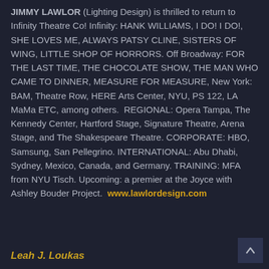JIMMY LAWLOR (Lighting Design) is thrilled to return to Infinity Theatre Co! Infinity: HANK WILLIAMS, I DO! I DO!, SHE LOVES ME, ALWAYS PATSY CLINE, SISTERS OF WING, LITTLE SHOP OF HORRORS. Off Broadway: FOR THE LAST TIME, THE CHOCOLATE SHOW, THE MAN WHO CAME TO DINNER, MEASURE FOR MEASURE, New York: BAM, Theatre Row, HERE Arts Center, NYU, PS 122, LA MaMa ETC, among others.  REGIONAL: Opera Tampa, The Kennedy Center, Hartford Stage, Signature Theatre, Arena Stage, and The Shakespeare Theatre. CORPORATE: HBO, Samsung, San Pellegrino. INTERNATIONAL: Abu Dhabi, Sydney, Mexico, Canada, and Germany. TRAINING: MFA from NYU Tisch. Upcoming: a premier at the Joyce with Ashley Bouder Project.  www.lawlordesign.com
Leah J. Loukas